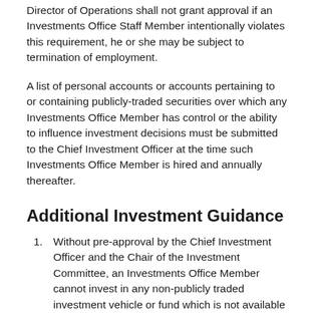Director of Operations shall not grant approval if an Investments Office Staff Member intentionally violates this requirement, he or she may be subject to termination of employment.
A list of personal accounts or accounts pertaining to or containing publicly-traded securities over which any Investments Office Member has control or the ability to influence investment decisions must be submitted to the Chief Investment Officer at the time such Investments Office Member is hired and annually thereafter.
Additional Investment Guidance
Without pre-approval by the Chief Investment Officer and the Chair of the Investment Committee, an Investments Office Member cannot invest in any non-publicly traded investment vehicle or fund which is not available in the general market and in which Smith has invested, plans to invest, or is considering an investment.
An Investments Office Member cannot have a "material financial interest" (as defined in Smith's